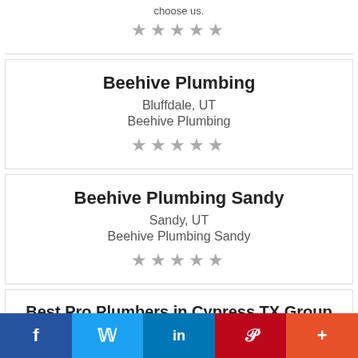choose us.
[Figure (other): 5 gray stars rating]
Beehive Plumbing
Bluffdale, UT
Beehive Plumbing
[Figure (other): 5 gray stars rating]
Beehive Plumbing Sandy
Sandy, UT
Beehive Plumbing Sandy
[Figure (other): 5 gray stars rating]
Best Pro Plumbers in Cypress TX Group
Cypress, TX
No matter how or where you search it, you